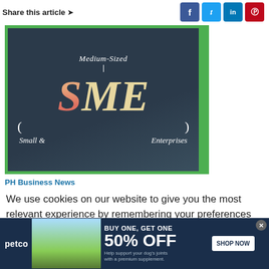Share this article
[Figure (photo): SME (Small & Medium-Sized Enterprises) sign with letters on dark wooden background, with green border frame.]
PH Business News
We use cookies on our website to give you the most relevant experience by remembering your preferences and repeat visits. By clicking “Accept”, you consent to the use
[Figure (infographic): Petco advertisement banner: BUY ONE, GET ONE 50% OFF - Help support your dog's joints with a premium supplement. SHOP NOW button. infolinks branding.]